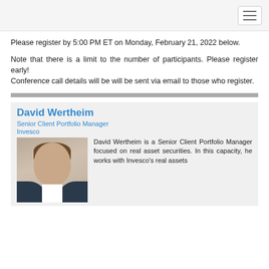Please register by 5:00 PM ET on Monday, February 21, 2022 below.
Note that there is a limit to the number of participants. Please register early!
Conference call details will be will be sent via email to those who register.
David Wertheim
Senior Client Portfolio Manager
Invesco
[Figure (photo): Headshot photo of David Wertheim]
David Wertheim is a Senior Client Portfolio Manager focused on real asset securities. In this capacity, he works with Invesco's real assets